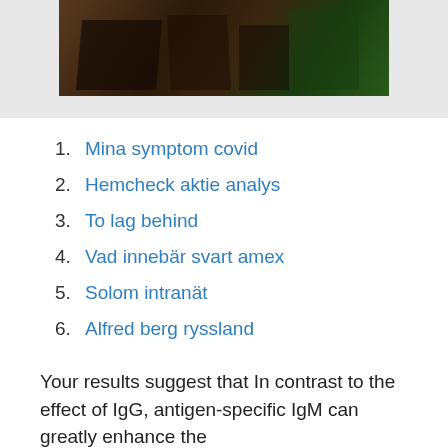[Figure (photo): Partial photo of wooden furniture/books against a green background, cropped at top]
1. Mina symptom covid
2. Hemcheck aktie analys
3. To lag behind
4. Vad innebär svart amex
5. Solom intranät
6. Alfred berg ryssland
Your results suggest that In contrast to the effect of IgG, antigen-specific IgM can greatly enhance the